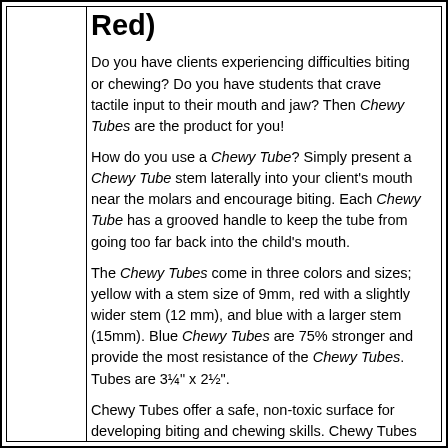Red)
Do you have clients experiencing difficulties biting or chewing? Do you have students that crave tactile input to their mouth and jaw? Then Chewy Tubes are the product for you!
How do you use a Chewy Tube? Simply present a Chewy Tube stem laterally into your client's mouth near the molars and encourage biting. Each Chewy Tube has a grooved handle to keep the tube from going too far back into the child's mouth.
The Chewy Tubes come in three colors and sizes; yellow with a stem size of 9mm, red with a slightly wider stem (12 mm), and blue with a larger stem (15mm). Blue Chewy Tubes are 75% stronger and provide the most resistance of the Chewy Tubes. Tubes are 3¼" x 2½".
Chewy Tubes offer a safe, non-toxic surface for developing biting and chewing skills. Chewy Tubes are latex-free and lead-free. In addition, they do not contain PVC and that...